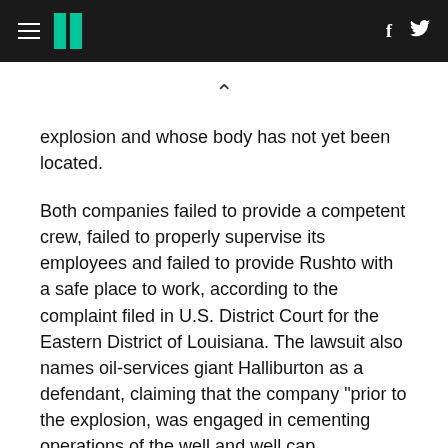HuffPost navigation header with hamburger menu, logo, Facebook and Twitter icons
explosion and whose body has not yet been located.
Both companies failed to provide a competent crew, failed to properly supervise its employees and failed to provide Rushto with a safe place to work, according to the complaint filed in U.S. District Court for the Eastern District of Louisiana. The lawsuit also names oil-services giant Halliburton as a defendant, claiming that the company "prior to the explosion, was engaged in cementing operations of the well and well cap